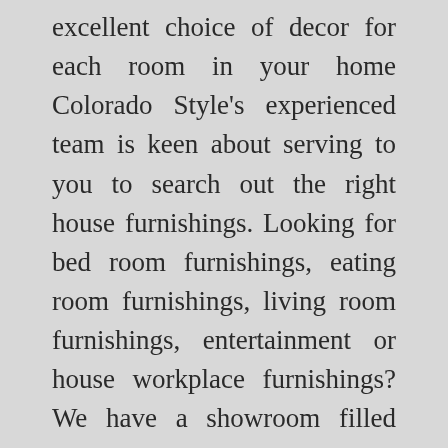excellent choice of decor for each room in your home Colorado Style's experienced team is keen about serving to you to search out the right house furnishings. Looking for bed room furnishings, eating room furnishings, living room furnishings, entertainment or house workplace furnishings? We have a showroom filled with furniture, house equipment, lighting and rugs to fit your tastes and suit your way of life.
Our inventory regularly changes, so merchandise proven will not be available. Take a glance inside our retailer to get a feel